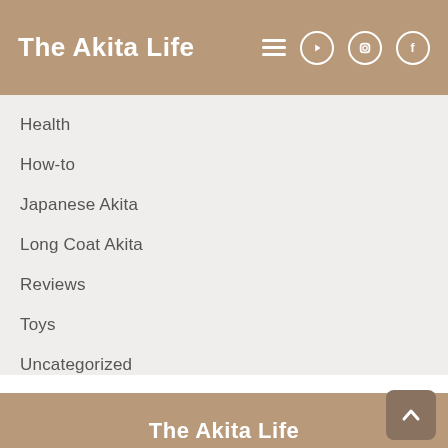The Akita Life
Health
How-to
Japanese Akita
Long Coat Akita
Reviews
Toys
Uncategorized
The Akita Life